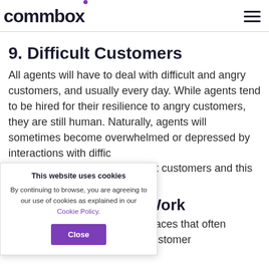commbox
9. Difficult Customers
All agents will have to deal with difficult and angry customers, and usually every day. While agents tend to be hired for their resilience to angry customers, they are still human. Naturally, agents will sometimes become overwhelmed or depressed by interactions with difficult customers and this [can negatively impact their perfor]mance.
[How to Make it] Work
[Call centers are p]laces that often experience huge volumes of customer
This website uses cookies
By continuing to browse, you are agreeing to our use of cookies as explained in our Cookie Policy.
Close